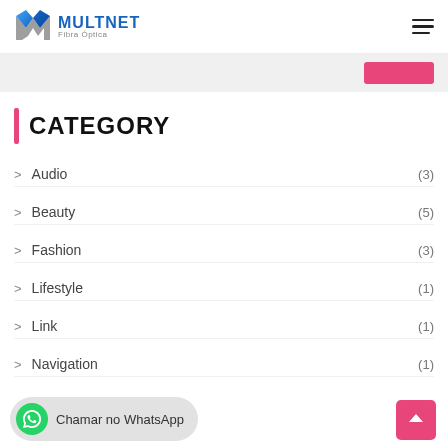MULTNET Fibra Óptica
CATEGORY
Audio (3)
Beauty (5)
Fashion (3)
Lifestyle (1)
Link (1)
Navigation (1)
Chamar no WhatsApp